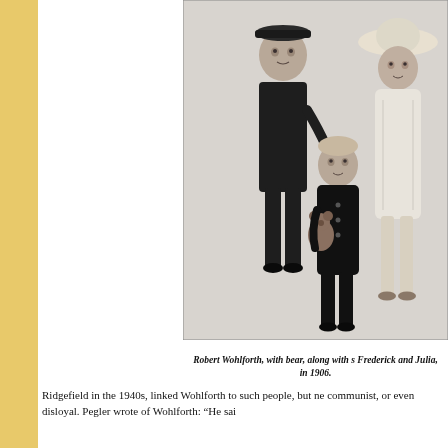[Figure (photo): Black and white photograph of three children: a boy in a suit and cap standing at back left, a girl in a white dress and large hat at back right, and a smaller child in a dark coat holding a teddy bear in the front center. Taken in 1906.]
Robert Wohlforth, with bear, along with s Frederick and Julia, in 1906.
Ridgefield in the 1940s, linked Wohlforth to such people, but ne communist, or even disloyal. Pegler wrote of Wohlforth: “He sai